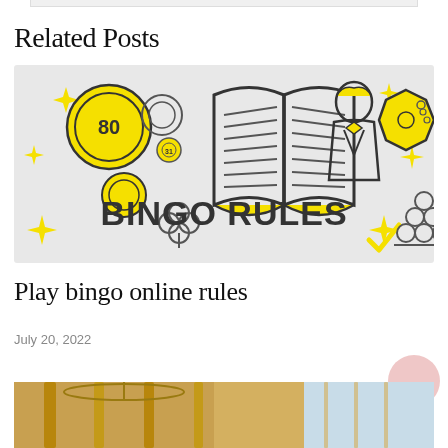Related Posts
[Figure (illustration): Bingo Rules illustrated banner with yellow and gray icons: bingo balls numbered 80 and 31, an open book, a man in tuxedo, a yellow stop-sign shaped coin, sparkle stars, a four-leaf clover, and bold text 'BINGO RULES' in the center. Light gray background.]
Play bingo online rules
July 20, 2022
[Figure (photo): Partial view of a decorative interior with gold/brass metallic poles and a chandelier, with a light blue sky visible in the background.]